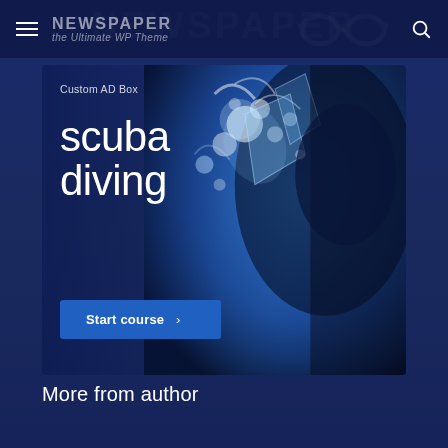NEWSPAPER the Ultimate WP Theme
[Figure (screenshot): Custom AD Box for scuba diving course. Shows a scuba diver underwater with splash effects. Text reads 'Custom AD Box', 'scuba diving', and a 'Start course >' button on a blue ocean background.]
More from author